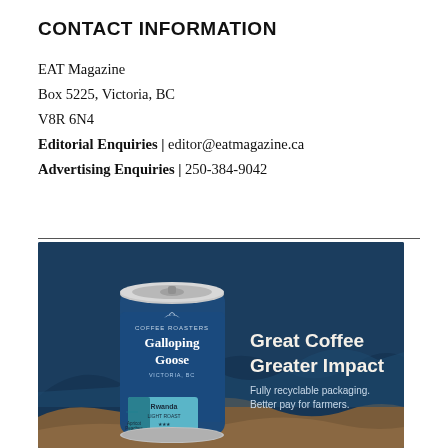CONTACT INFORMATION
EAT Magazine
Box 5225, Victoria, BC
V8R 6N4
Editorial Enquiries | editor@eatmagazine.ca
Advertising Enquiries | 250-384-9042
[Figure (illustration): Advertisement for Galloping Goose Coffee Roasters showing a dark blue can of coffee with 'Galloping Goose' branding and a Rwanda label. Text reads 'Great Coffee Greater Impact. Fully recyclable packaging. Better pay for farmers.' Set against a dark navy blue background with mountain/wave design elements in brown/tan.]